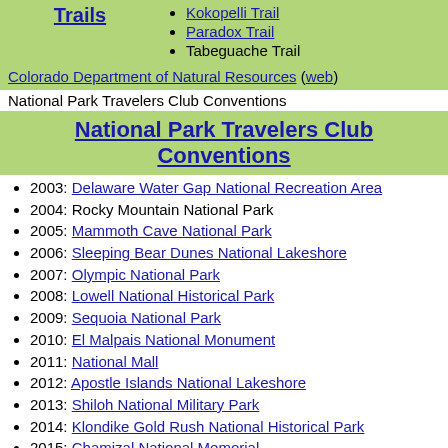Kokopelli Trail
Paradox Trail
Tabeguache Trail
Colorado Department of Natural Resources (web)
National Park Travelers Club Conventions
National Park Travelers Club Conventions
2003: Delaware Water Gap National Recreation Area
2004: Rocky Mountain National Park
2005: Mammoth Cave National Park
2006: Sleeping Bear Dunes National Lakeshore
2007: Olympic National Park
2008: Lowell National Historical Park
2009: Sequoia National Park
2010: El Malpais National Monument
2011: National Mall
2012: Apostle Islands National Lakeshore
2013: Shiloh National Military Park
2014: Klondike Gold Rush National Historical Park
2015: Chamizal National Memorial
2016: Independence National Historical Park
2017: Mount Rushmore National Memorial
2018: New Bedford Whaling National Historical Park
2019: Flagstaff, Arizona area national monuments